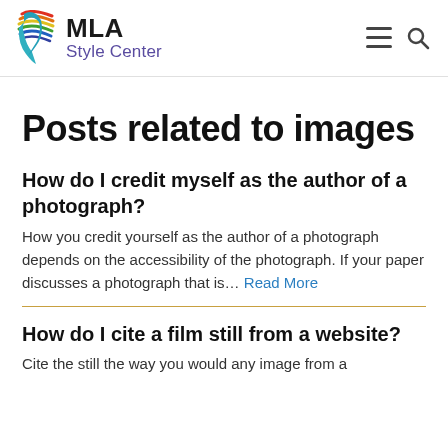MLA Style Center
Posts related to images
How do I credit myself as the author of a photograph?
How you credit yourself as the author of a photograph depends on the accessibility of the photograph. If your paper discusses a photograph that is… Read More
How do I cite a film still from a website?
Cite the still the way you would any image from a